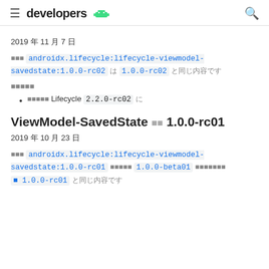developers [android]
2019 年 11 月 7 日
現在 androidx.lifecycle:lifecycle-viewmodel-savedstate:1.0.0-rc02 は 1.0.0-rc02 と同じ内容です
依存関係
バグ修正 Lifecycle 2.2.0-rc02 に依存
ViewModel-SavedState バージョン 1.0.0-rc01
2019 年 10 月 23 日
現在 androidx.lifecycle:lifecycle-viewmodel-savedstate:1.0.0-rc01 より 1.0.0-beta01 からリリース ノート 1.0.0-rc01 と同じ内容です